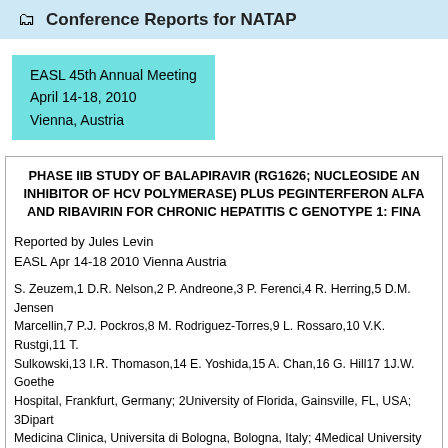Conference Reports for NATAP
EASL 45th Annual Meeting
April 14-18, 2010
Vienna, Austria
PHASE IIB STUDY OF BALAPIRAVIR (RG1626; NUCLEOSIDE ANALOGUE INHIBITOR OF HCV POLYMERASE) PLUS PEGINTERFERON ALFA-2A AND RIBAVIRIN FOR CHRONIC HEPATITIS C GENOTYPE 1: FINA...
Reported by Jules Levin
EASL Apr 14-18 2010 Vienna Austria
S. Zeuzem,1 D.R. Nelson,2 P. Andreone,3 P. Ferenci,4 R. Herring,5 D.M. Jensen,6 P. Marcellin,7 P.J. Pockros,8 M. Rodriguez-Torres,9 L. Rossaro,10 V.K. Rustgi,11 T. Sulkowski,13 I.R. Thomason,14 E. Yoshida,15 A. Chan,16 G. Hill17 1J.W. Goethe Hospital, Frankfurt, Germany; 2University of Florida, Gainsville, FL, USA; 3Dipartimento Medicina Clinica, Universita di Bologna, Bologna, Italy; 4Medical University of Vienna, Austria; 5Nashville Gastrointestinal Specialists, Inc., Nashville, TN, USA; 6Center Diseases, Chicago, IL, USA; 7Hopital Beaujon, Clichy, France; 8Scripps Clinic, T San Diego, La Jolla, CA, USA; 9Fundacion de Investigacion De Diego Santurce, ...